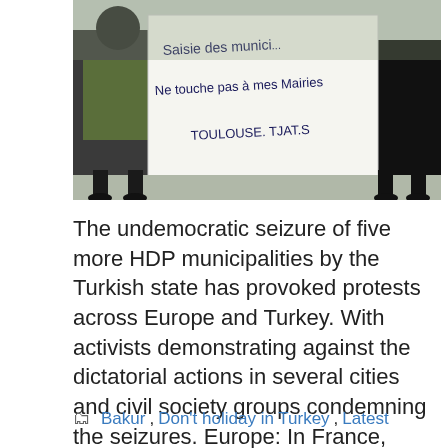[Figure (photo): Photo of protesters holding a white banner with handwritten French text: 'Saisie des municipi...' / 'Ne touche pas à mes Mairies' / 'TOULOUSE. TJAT.S']
The undemocratic seizure of five more HDP municipalities by the Turkish state has provoked protests across Europe and Turkey. With activists demonstrating against the dictatorial actions in several cities and civil society groups condemning the seizures. Europe: In France, socially distanced protests took place in various cities. Kurdish Youth Movement activists in Drancy, Toulouse and ... Read more
Bakur, Don't holiday in Turkey, Latest